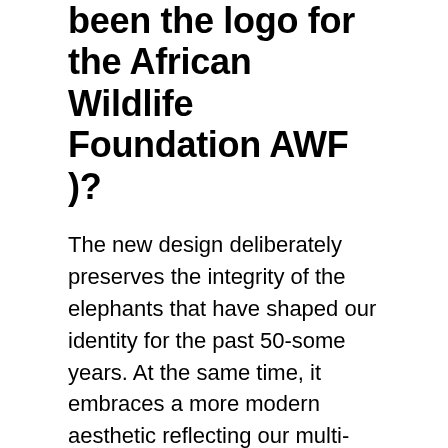been the logo for the African Wildlife Foundation AWF )?
The new design deliberately preserves the integrity of the elephants that have shaped our identity for the past 50-some years. At the same time, it embraces a more modern aesthetic reflecting our multi-dimensional approach to conservation.
Where is there a lot of African wildlife?
In Botswana, Chobe National Park will be a main attraction. It’s known for having one of the greatest concentrations of wildlife, and particularly of elephants, in all of Africa. The